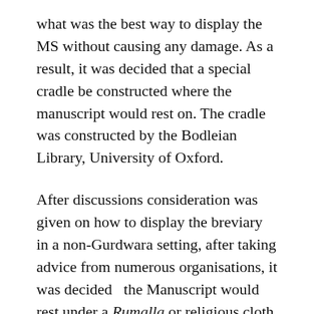what was the best way to display the MS without causing any damage. As a result, it was decided that a special cradle be constructed where the manuscript would rest on. The cradle was constructed by the Bodleian Library, University of Oxford.
After discussions consideration was given on how to display the breviary in a non-Gurdwara setting, after taking advice from numerous organisations, it was decided  the Manuscript would rest under a Rumalla or religious cloth. (2)  The cloth was donated by Guru Tegh Bahadur Gurdwara Leicester.  The display featured a number of Sikh weaponry  which mirrors traditional setting of a Gurdwara in